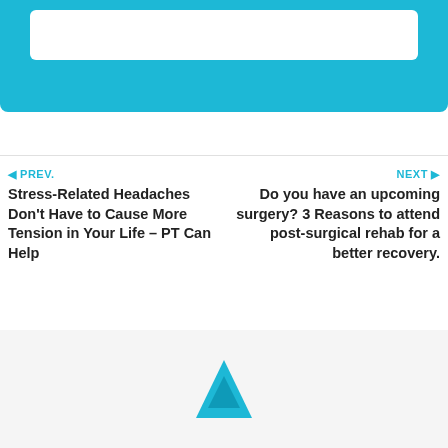[Figure (other): Teal/cyan banner with white rounded rectangle input field inside]
◄ PREV.
Stress-Related Headaches Don't Have to Cause More Tension in Your Life – PT Can Help
NEXT ►
Do you have an upcoming surgery? 3 Reasons to attend post-surgical rehab for a better recovery.
[Figure (logo): Blue/teal triangle logo mark at bottom center]